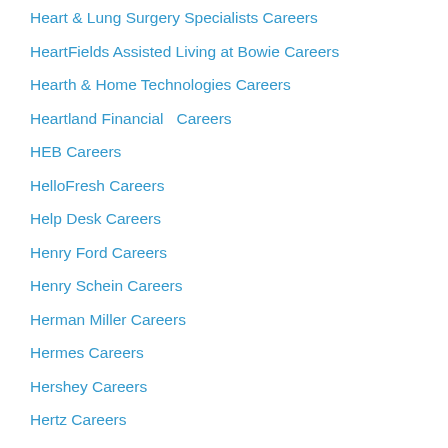Heart & Lung Surgery Specialists Careers
HeartFields Assisted Living at Bowie Careers
Hearth & Home Technologies Careers
Heartland Financial  Careers
HEB Careers
HelloFresh Careers
Help Desk Careers
Henry Ford Careers
Henry Schein Careers
Herman Miller Careers
Hermes Careers
Hershey Careers
Hertz Careers